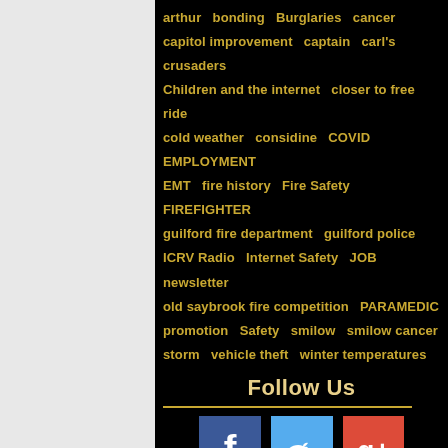[Figure (photo): Background photo of a red fire truck with Guilford Fire Department badge/emblem visible on the right side. Left portion shows white background.]
arthur  bonding  Burglaries  cancer
capitol improvement  captain  carl's crusaders
Children and the internet  closer to free ride
cold weather  considine  COVID  EMPLOYMENT
EMT  fire history  Fire Safety  FIREFIGHTER
guilford fire department  guilford police
ICRV Radio  Internet Safety  JOB  newsletter
old saybrook fire competition  PARAMEDIC
promotion  Safety  smilow  smilow cancer
storm  vehicle theft  winter temperatures
Follow Us
[Figure (infographic): Three social media icons: Facebook (blue, f), Twitter (light blue, bird), Google+ (red, g+)]